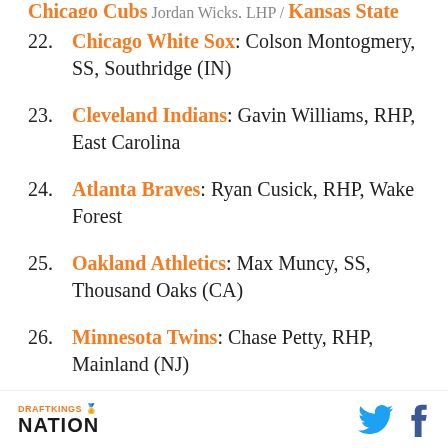22. Chicago White Sox: Colson Montogmery, SS, Southridge (IN)
23. Cleveland Indians: Gavin Williams, RHP, East Carolina
24. Atlanta Braves: Ryan Cusick, RHP, Wake Forest
25. Oakland Athletics: Max Muncy, SS, Thousand Oaks (CA)
26. Minnesota Twins: Chase Petty, RHP, Mainland (NJ)
27. San Diego Padres: Jackson Merrill, SS, Severna Park (MD)
DraftKings Nation